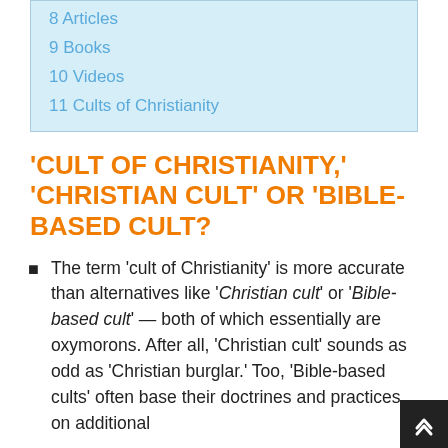8 Articles
9 Books
10 Videos
11 Cults of Christianity
'CULT OF CHRISTIANITY,' 'CHRISTIAN CULT' OR 'BIBLE-BASED CULT?
The term 'cult of Christianity' is more accurate than alternatives like 'Christian cult' or 'Bible-based cult' — both of which essentially are oxymorons. After all, 'Christian cult' sounds as odd as 'Christian burglar.' Too, 'Bible-based cults' often base their doctrines and practices on additional